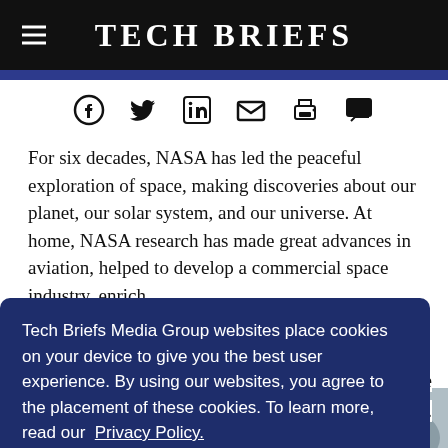Tech Briefs
[Figure (infographic): Social sharing icons: Facebook, Twitter, LinkedIn, Email, Print, Comment]
For six decades, NASA has led the peaceful exploration of space, making discoveries about our planet, our solar system, and our universe. At home, NASA research has made great advances in aviation, helped to develop a commercial space industry, enrich [partially obscured]. Here [partially obscured] rs.
Tech Briefs Media Group websites place cookies on your device to give you the best user experience. By using our websites, you agree to the placement of these cookies. To learn more, read our Privacy Policy.
Accept & Continue